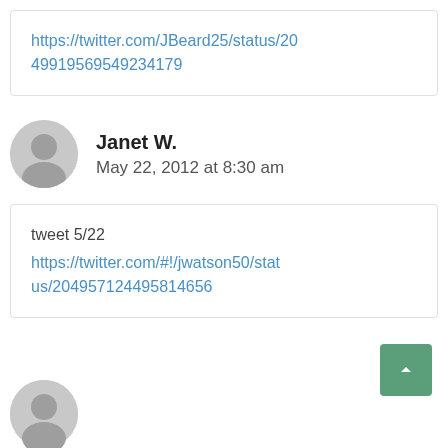https://twitter.com/JBeard25/status/204919569549234179
Janet W.
May 22, 2012 at 8:30 am
tweet 5/22
https://twitter.com/#!/jwatson50/status/204957124495814656